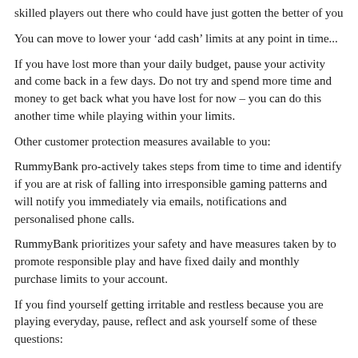skilled players out there who could have just gotten the better of you
You can move to lower your ‘add cash’ limits at any point in time...
If you have lost more than your daily budget, pause your activity and come back in a few days. Do not try and spend more time and money to get back what you have lost for now – you can do this another time while playing within your limits.
Other customer protection measures available to you:
RummyBank pro-actively takes steps from time to time and identify if you are at risk of falling into irresponsible gaming patterns and will notify you immediately via emails, notifications and personalised phone calls.
RummyBank prioritizes your safety and have measures taken by to promote responsible play and have fixed daily and monthly purchase limits to your account.
If you find yourself getting irritable and restless because you are playing everyday, pause, reflect and ask yourself some of these questions:
Is the time I spend on playing on RummyBank interfering with my